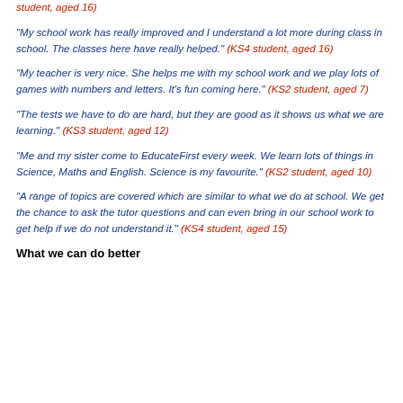student, aged 16)
“My school work has really improved and I understand a lot more during class in school. The classes here have really helped.” (KS4 student, aged 16)
“My teacher is very nice. She helps me with my school work and we play lots of games with numbers and letters. It’s fun coming here.” (KS2 student, aged 7)
“The tests we have to do are hard, but they are good as it shows us what we are learning.” (KS3 student, aged 12)
“Me and my sister come to EducateFirst every week. We learn lots of things in Science, Maths and English. Science is my favourite.” (KS2 student, aged 10)
“A range of topics are covered which are similar to what we do at school. We get the chance to ask the tutor questions and can even bring in our school work to get help if we do not understand it.” (KS4 student, aged 15)
What we can do better